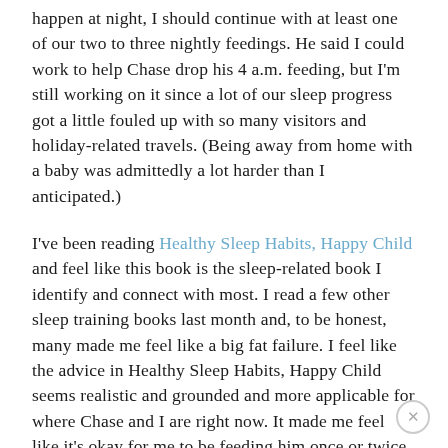happen at night, I should continue with at least one of our two to three nightly feedings. He said I could work to help Chase drop his 4 a.m. feeding, but I'm still working on it since a lot of our sleep progress got a little fouled up with so many visitors and holiday-related travels. (Being away from home with a baby was admittedly a lot harder than I anticipated.)
I've been reading Healthy Sleep Habits, Happy Child and feel like this book is the sleep-related book I identify and connect with most. I read a few other sleep training books last month and, to be honest, many made me feel like a big fat failure. I feel like the advice in Healthy Sleep Habits, Happy Child seems realistic and grounded and more applicable for where Chase and I are right now. It made me feel like it's okay for me to be feeding him once or twice a night right now if I need to when I feel like ALL I ever hear about are the billions of babies who have been sleeping through the night for months at this point. That's not us right now and I believe that is okay, even if I am one heck of a sleepy mama. (Please know I believe other books and